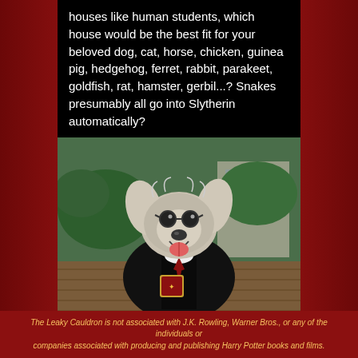houses like human students, which house would be the best fit for your beloved dog, cat, horse, chicken, guinea pig, hedgehog, ferret, rabbit, parakeet, goldfish, rat, hamster, gerbil...? Snakes presumably all go into Slytherin automatically?
[Figure (photo): A dog dressed in a Harry Potter Hogwarts black robe/cloak with a tie, wearing small round glasses, sitting outdoors on a wooden deck with green foliage in the background. The dog is smiling with its mouth open.]
4 replies, 47 likes
The Leaky Cauldron @leaky · Aug 17
The Leaky Cauldron is not associated with J.K. Rowling, Warner Bros., or any of the individuals or companies associated with producing and publishing Harry Potter books and films.